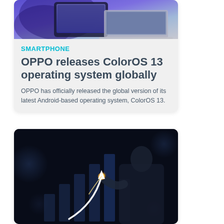[Figure (photo): OPPO devices – tablet and laptop with purple/blue gradient abstract wallpaper]
SMARTPHONE
OPPO releases ColorOS 13 operating system globally
OPPO has officially released the global version of its latest Android-based operating system, ColorOS 13.
[Figure (photo): Person in dark suit drawing an upward curved arrow chart with glowing light, representing business growth]